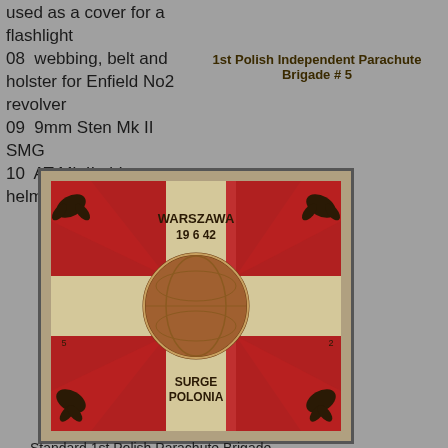used as a cover for a flashlight
08  webbing, belt and holster for Enfield No2 revolver
09  9mm Sten Mk II SMG
10  AT Mk II airborne helmet
1st Polish Independent Parachute Brigade # 5
[Figure (photo): Standard of the 1st Polish Parachute Brigade - a red and white cross pattern flag with eagles in corners, a globe in center, text WARSZAWA 19 6 42 at top and SURGE POLONIA at bottom]
Standard 1st Polish Parachute Brigade